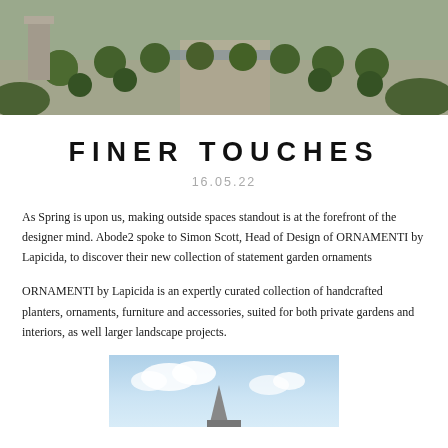[Figure (photo): Aerial/landscape view of a formal garden with rounded topiary shrubs arranged in rows along a water feature or pathway, with stone paving and lush greenery.]
FINER TOUCHES
16.05.22
As Spring is upon us, making outside spaces standout is at the forefront of the designer mind. Abode2 spoke to Simon Scott, Head of Design of ORNAMENTI by Lapicida, to discover their new collection of statement garden ornaments
ORNAMENTI by Lapicida is an expertly curated collection of handcrafted planters, ornaments, furniture and accessories, suited for both private gardens and interiors, as well larger landscape projects.
[Figure (photo): Partial view of a sculptural garden ornament or statue against a blue sky with clouds.]